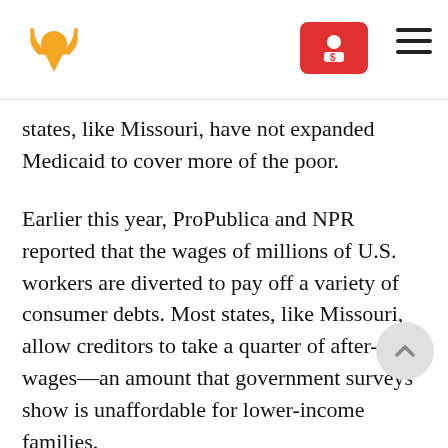NPR / ProPublica article header with logo and navigation
states, like Missouri, have not expanded Medicaid to cover more of the poor.
Earlier this year, ProPublica and NPR reported that the wages of millions of U.S. workers are diverted to pay off a variety of consumer debts. Most states, like Missouri, allow creditors to take a quarter of after-tax wages—an amount that government surveys show is unaffordable for lower-income families.
Consumer advocates say the laws governing wage garnishment are outdated and overly punitive,